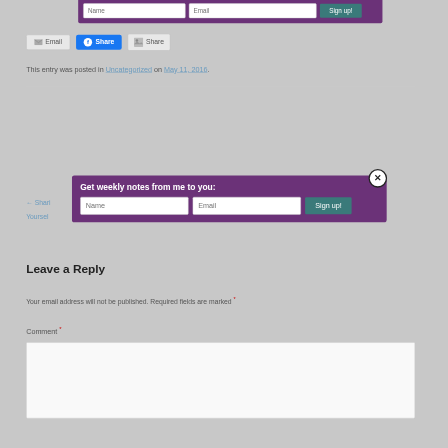[Figure (screenshot): Top newsletter signup bar with Name and Email input fields and a Sign up! button on a purple background]
[Figure (screenshot): Share buttons row: Email button, Facebook Share button, and an image Share button]
This entry was posted in Uncategorized on May 11, 2016.
← Sharing... on Too Yourself... ightly? →
Leave a Reply
Your email address will not be published. Required fields are marked *
Comment *
[Figure (screenshot): Modal popup with purple background: 'Get weekly notes from me to you:' heading, Name and Email input fields, Sign up! button, and a circular close (X) button]